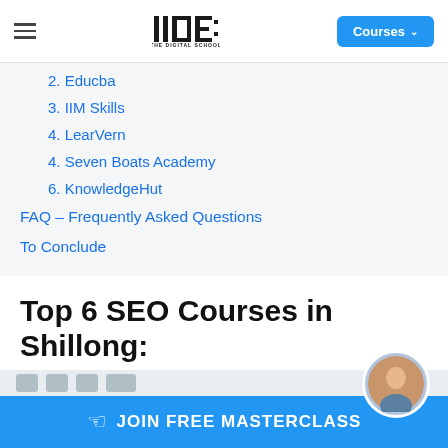IIDE – THE DIGITAL SCHOOL | Courses
2. Educba
3. IIM Skills
4. LearVern
4. Seven Boats Academy
6. KnowledgeHut
FAQ – Frequently Asked Questions
To Conclude
Top 6 SEO Courses in Shillong:
1. IIDE – The Digital School